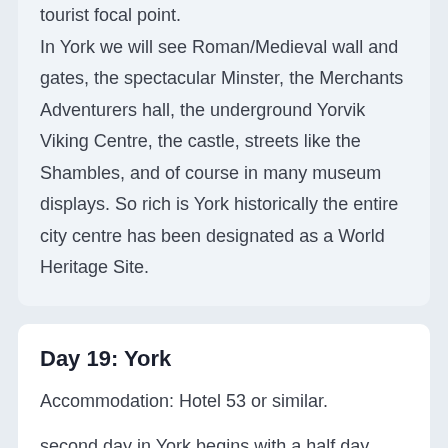tourist focal point.

In York we will see Roman/Medieval wall and gates, the spectacular Minster, the Merchants Adventurers hall, the underground Yorvik Viking Centre, the castle, streets like the Shambles, and of course in many museum displays. So rich is York historically the entire city centre has been designated as a World Heritage Site.
Day 19: York
Accommodation: Hotel 53 or similar.
second day in York begins with a half day guided tour of the main city highlights and entrance